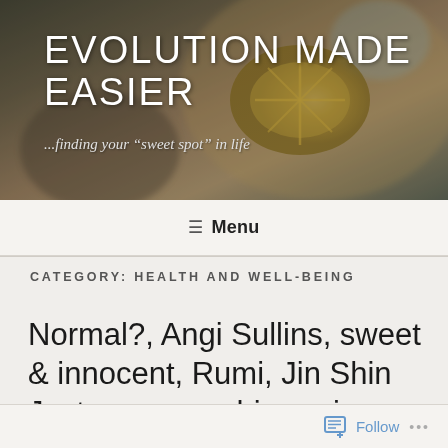[Figure (photo): Blog header banner with decorative golden ornament/brooch and blurred background in warm brown/gold tones]
EVOLUTION MADE EASIER
...finding your "sweet spot" in life
≡ Menu
CATEGORY: HEALTH AND WELL-BEING
Normal?, Angi Sullins, sweet & innocent, Rumi, Jin Shin Jyutsu, sea urchins, wise advice and some humor :-)
Follow ...